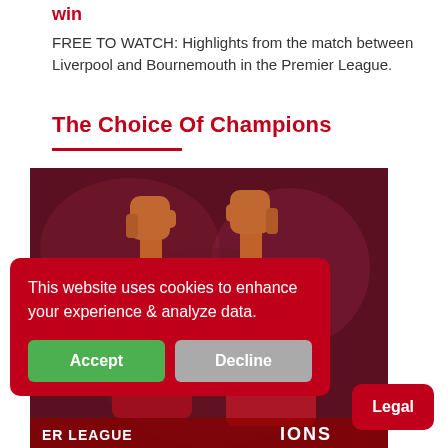win
FREE TO WATCH: Highlights from the match between Liverpool and Bournemouth in the Premier League.
The Choice Of Champions
[Figure (photo): Two Liverpool FC players in red jerseys celebrating with fists raised, photo taken from below against a dark red background. Bottom of image shows partial text 'ER LEAGUE' and 'IONS'.]
This website uses cookies to enhance your experience & analyze data.
Accept
Decline
Legal